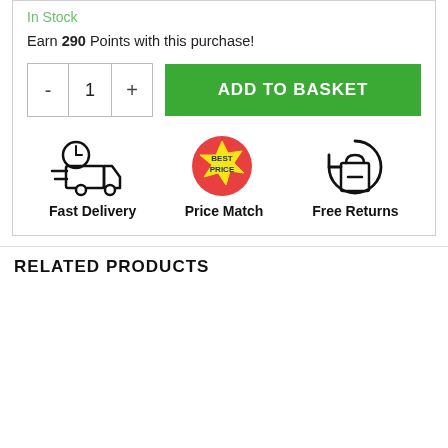In Stock
Earn 290 Points with this purchase!
[Figure (illustration): Quantity selector with minus, 1, plus buttons and green ADD TO BASKET button]
[Figure (infographic): Three icons: Fast Delivery (delivery truck with clock), Price Match (Best Price badge), Free Returns (shopping bag with circular arrow). Each with label below.]
RELATED PRODUCTS